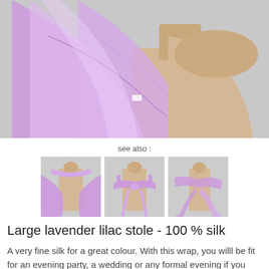[Figure (photo): Large main product photo of a lavender/lilac silk stole draped on a dressmaker's mannequin torso against a light grey background. The sheer purple fabric cascades in folds.]
see also :
[Figure (photo): Thumbnail 1: lavender silk stole draped loosely over a mannequin, full wrap style.]
[Figure (photo): Thumbnail 2: lavender silk stole tied in a bow/knot around a mannequin torso.]
[Figure (photo): Thumbnail 3: lavender silk stole wrapped around a mannequin, side view.]
Large lavender lilac stole - 100 % silk
A very fine silk for a great colour. With this wrap, you willl be fit for an evening party, a wedding or any formal evening if you wear it on your shoulders or